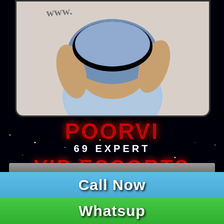[Figure (photo): Photo of a person wearing a light blue bodysuit and denim wrap, cropped at torso level, displayed on dark background]
POORVI
69 EXPERT
VIP ESCORTS
Balikuda Call Girls
Balikuda Model Escorts
Balikuda Housewife Escorts
Call Now
Whatsup